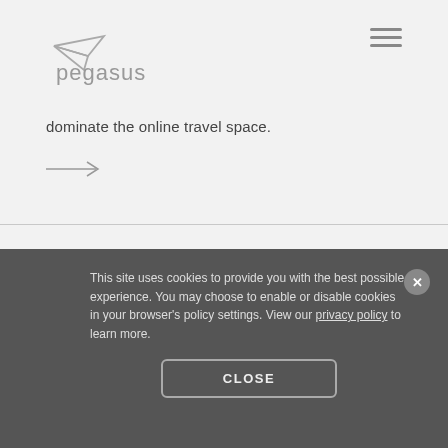[Figure (logo): Pegasus logo with paper airplane icon and text 'pegasus' in gray]
[Figure (other): Hamburger menu icon (three horizontal lines) in top right]
dominate the online travel space.
[Figure (other): Right-pointing arrow (→) link]
[Figure (other): Browser/webpage icon in bottom section]
This site uses cookies to provide you with the best possible experience. You may choose to enable or disable cookies in your browser's policy settings. View our privacy policy to learn more.
[Figure (other): Close X button (circle with X) in cookie banner]
CLOSE